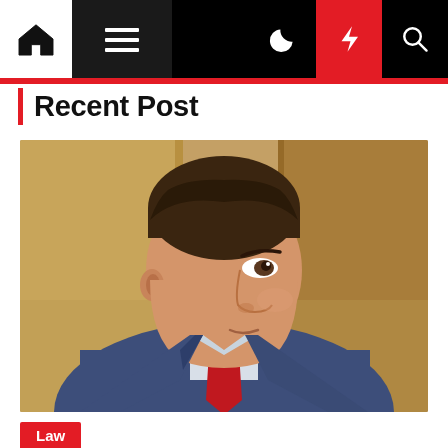Navigation bar with home, menu, dark mode, flash, and search icons
Recent Post
[Figure (photo): A man in a blue suit with a red tie, seen in profile/three-quarter view, with brown hair, in an indoor setting with wooden paneling in the background.]
Law